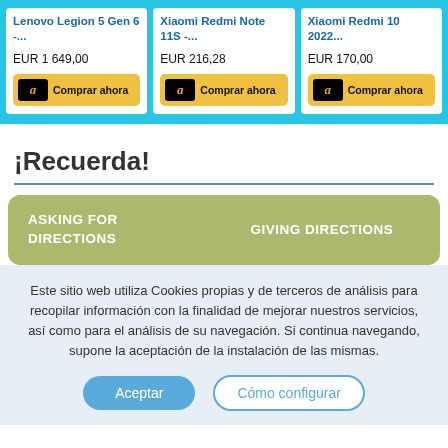[Figure (screenshot): Three Amazon product cards on cyan background: Lenovo Legion 5 Gen 6 -... EUR 1 649,00; Xiaomi Redmi Note 11S -... EUR 216,28; Xiaomi Redmi 10 2022... EUR 170,00. Each with a 'Comprar ahora' (Buy now) Amazon button.]
¡Recuerda!
[Figure (infographic): Green rounded banner with two columns: ASKING FOR DIRECTIONS on the left, GIVING DIRECTIONS on the right.]
Este sitio web utiliza Cookies propias y de terceros de análisis para recopilar información con la finalidad de mejorar nuestros servicios, así como para el análisis de su navegación. Si continua navegando, supone la aceptación de la instalación de las mismas.
Aceptar    Cómo configurar